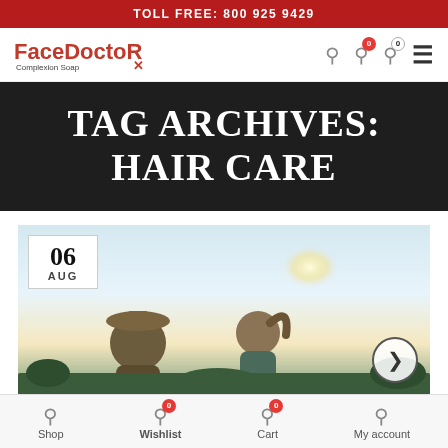TOLL FREE: 800 925 9429
[Figure (logo): FaceDoctorX Complexion Soap logo in red bold text]
TAG ARCHIVES: HAIR CARE
[Figure (photo): Outdoor photo of two women with sun in background, one wearing a hat, date badge showing 06 AUG in top left corner]
Shop | Wishlist | Cart | My account